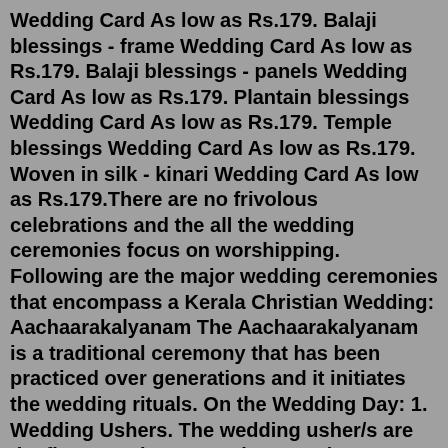Wedding Card As low as Rs.179. Balaji blessings - frame Wedding Card As low as Rs.179. Balaji blessings - panels Wedding Card As low as Rs.179. Plantain blessings Wedding Card As low as Rs.179. Temple blessings Wedding Card As low as Rs.179. Woven in silk - kinari Wedding Card As low as Rs.179.There are no frivolous celebrations and the all the wedding ceremonies focus on worshipping. Following are the major wedding ceremonies that encompass a Kerala Christian Wedding: Aachaarakalyanam The Aachaarakalyanam is a traditional ceremony that has been practiced over generations and it initiates the wedding rituals. On the Wedding Day: 1. Wedding Ushers. The wedding usher/s are the first to arrive, around 30-45 minutes before the wedding ceremony. They stand outside the church, greeting and directing the early guests to the appropriate seating arrangements and handing out programs or service notes and boutonnières for guests.Mar 14, 2008 · Christian Wedding & Ceremony In India 3% of the population is Christi...